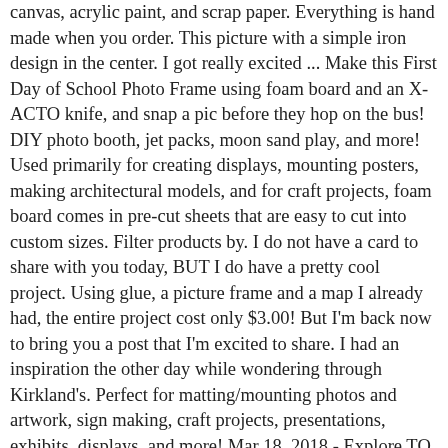canvas, acrylic paint, and scrap paper. Everything is hand made when you order. This picture with a simple iron design in the center. I got really excited ... Make this First Day of School Photo Frame using foam board and an X-ACTO knife, and snap a pic before they hop on the bus! DIY photo booth, jet packs, moon sand play, and more! Used primarily for creating displays, mounting posters, making architectural models, and for craft projects, foam board comes in pre-cut sheets that are easy to cut into custom sizes. Filter products by. I do not have a card to share with you today, BUT I do have a pretty cool project. Using glue, a picture frame and a map I already had, the entire project cost only $3.00! But I'm back now to bring you a post that I'm excited to share. I had an inspiration the other day while wondering through Kirkland's. Perfect for matting/mounting photos and artwork, sign making, craft projects, presentations, exhibits, displays, and more! Mar 18, 2018 - Explore TQ Fabulous's board "Foam Core Board", followed by 114 people on Pinterest. You are gonna love love love Brandi, if you don't already know her! Today we're sharing a quick tutorial on how to make foam stamps. Try a few of these DIY storage projects this weekend for a quick organization